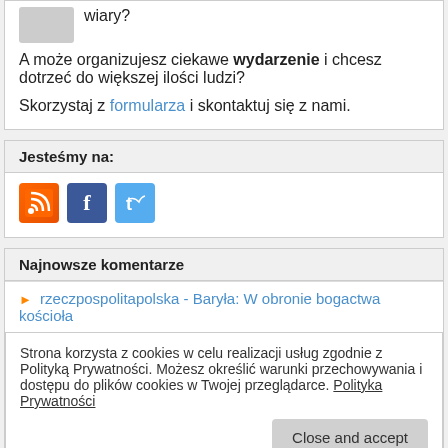wiary?
A może organizujesz ciekawe wydarzenie i chcesz dotrzeć do większej ilości ludzi?
Skorzystaj z formularza i skontaktuj się z nami.
Jesteśmy na:
[Figure (other): Social media icons: RSS feed (orange), Facebook (blue), Twitter (light blue)]
Najnowsze komentarze
rzeczpospolitapolska - Baryła: W obronie bogactwa kościoła
Strona korzysta z cookies w celu realizacji usług zgodnie z Polityką Prywatności. Możesz określić warunki przechowywania i dostępu do plików cookies w Twojej przeglądarce. Polityka Prywatności
Close and accept